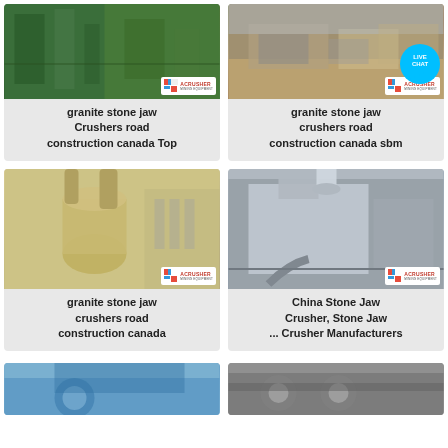[Figure (photo): Industrial green-tinted factory interior with ACRUSHER Mining Equipment logo]
granite stone jaw Crushers road construction canada Top
[Figure (photo): Outdoor crushing/construction site with trucks and ACRUSHER Mining Equipment logo, with LIVE CHAT bubble]
granite stone jaw crushers road construction canada sbm
[Figure (photo): Beige/tan industrial mill equipment with ACRUSHER Mining Equipment logo]
granite stone jaw crushers road construction canada
[Figure (photo): Gray industrial dust collector/filter building with ACRUSHER Mining Equipment logo]
China Stone Jaw Crusher, Stone Jaw ... Crusher Manufacturers
[Figure (photo): Blue-toned machinery bottom row left]
[Figure (photo): Gray machinery close-up bottom row right]